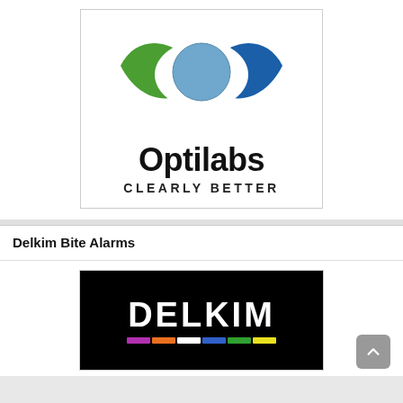[Figure (logo): Optilabs logo: stylized eye made of green and blue leaf shapes with a blue circle iris, with text 'Optilabs' in bold black and 'CLEARLY BETTER' in spaced caps below]
Delkim Bite Alarms
[Figure (logo): Delkim logo on black background: white bold text 'DELKIM' with a row of colored bars (purple, orange, white, blue, green, yellow) beneath]